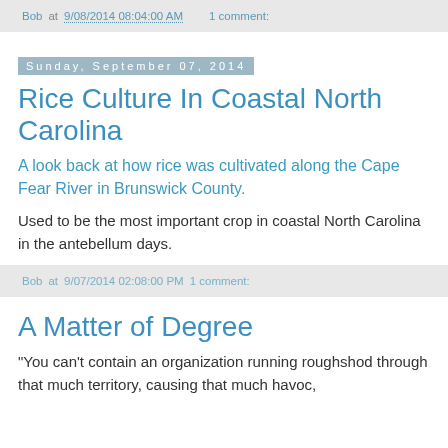Bob at 9/08/2014 08:04:00 AM   1 comment:
Sunday, September 07, 2014
Rice Culture In Coastal North Carolina
A look back at how rice was cultivated along the Cape Fear River in Brunswick County.
Used to be the most important crop in coastal North Carolina in the antebellum days.
Bob at 9/07/2014 02:08:00 PM   1 comment:
A Matter of Degree
"You can't contain an organization running roughshod through that much territory, causing that much havoc,